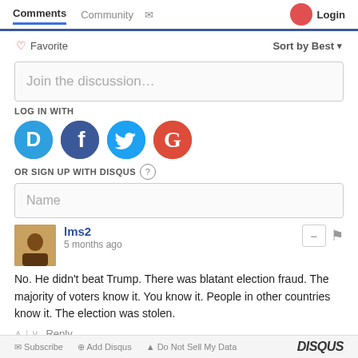Comments   Community   Login
♡ Favorite    Sort by Best ▾
Join the discussion…
LOG IN WITH
[Figure (logo): Social login icons: Disqus (D), Facebook (f), Twitter bird, Google (G)]
OR SIGN UP WITH DISQUS ?
Name
lms2
5 months ago
No. He didn't beat Trump. There was blatant election fraud. The majority of voters know it. You know it. People in other countries know it. The election was stolen.
^ | ∨   Reply
Subscribe   Add Disqus   Do Not Sell My Data   DISQUS